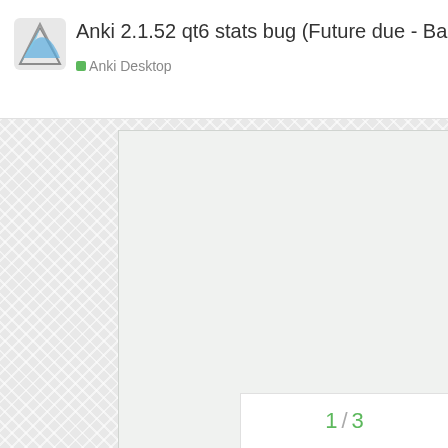Anki 2.1.52 qt6 stats bug (Future due - Backlog)
Anki Desktop
[Figure (screenshot): Large light-gray screenshot/image area showing an empty Anki statistics screen, mostly blank with a light greenish-gray background. Contains an expand/fullscreen icon arrow in the bottom-right corner of the image.]
Anki 2.1.51 qt6
1 / 3